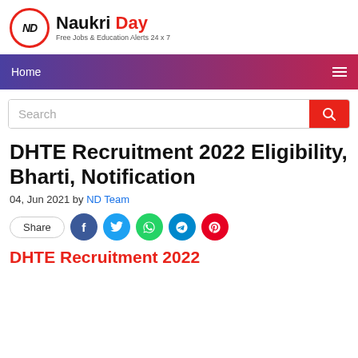[Figure (logo): Naukri Day logo with ND in a red circle and 'Free Jobs & Education Alerts 24 x 7' tagline]
Home
Search
DHTE Recruitment 2022 Eligibility, Bharti, Notification
04, Jun 2021 by ND Team
Share
DHTE Recruitment 2022